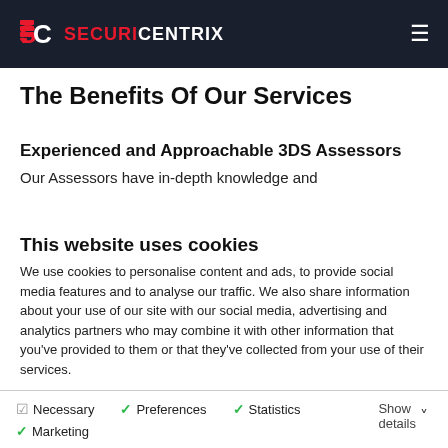SECURICENTRIX
The Benefits Of Our Services
Experienced and Approachable 3DS Assessors
Our Assessors have in-depth knowledge and
This website uses cookies
We use cookies to personalise content and ads, to provide social media features and to analyse our traffic. We also share information about your use of our site with our social media, advertising and analytics partners who may combine it with other information that you've provided to them or that they've collected from your use of their services.
Allow all cookies
Allow selection
Use necessary cookies only
Necessary  Preferences  Statistics  Marketing  Show details